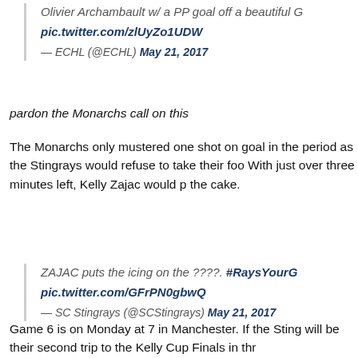Olivier Archambault w/ a PP goal off a beautiful pic.twitter.com/zlUyZo1UDW
— ECHL (@ECHL) May 21, 2017
pardon the Monarchs call on this
The Monarchs only mustered one shot on goal in the period as the Stingrays would refuse to take their foot off. With just over three minutes left, Kelly Zajac would put the icing on the cake.
ZAJAC puts the icing on the ????. #RaysYourG pic.twitter.com/GFrPN0gbwQ
— SC Stingrays (@SCStingrays) May 21, 2017
Game 6 is on Monday at 7 in Manchester. If the Stingrays win it will be their second trip to the Kelly Cup Finals in three years.